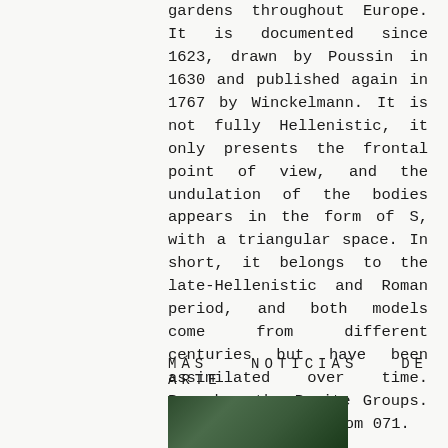gardens throughout Europe. It is documented since 1623, drawn by Poussin in 1630 and published again in 1767 by Winckelmann. It is not fully Hellenistic, it only presents the frontal point of view, and the undulation of the bodies appears in the form of S, with a triangular space. In short, it belongs to the late-Hellenistic and Roman period, and both models come from different centuries but have been assimilated over time. Remember the Pasite Groups. It is located in room 071.
MÁS NOTICIAS DE ARTE
[Figure (photo): Partial view of a photograph showing greenery/foliage, cropped at the bottom of the page.]